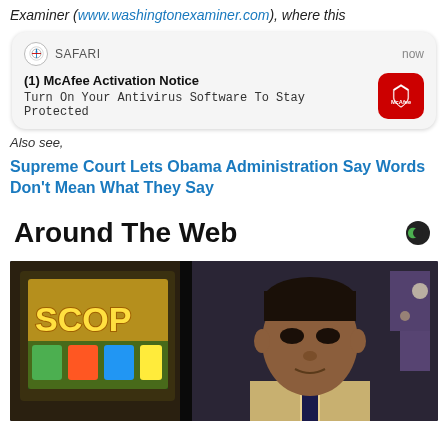Examiner (www.washingtonexaminer.com), where this
[Figure (screenshot): iOS Safari push notification from McAfee: '(1) McAfee Activation Notice — Turn On Your Antivirus Software To Stay Protected', showing Safari browser icon, timestamp 'now', and McAfee red shield logo icon.]
Also see,
Supreme Court Lets Obama Administration Say Words Don't Mean What They Say
Around The Web
[Figure (photo): A man in a suit standing near slot machines in what appears to be a casino. The slot machine screen on the left shows 'SCOP' text and colorful graphics. The environment has purple/blue ambient lighting.]